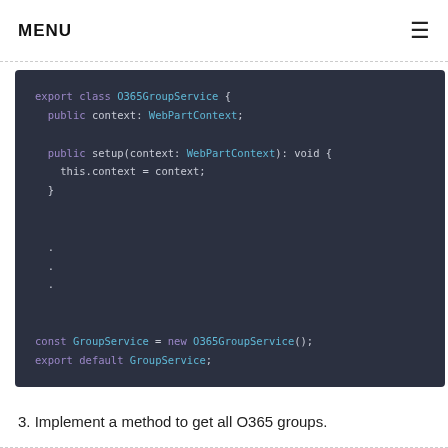MENU
[Figure (screenshot): Code block showing TypeScript class O365GroupService with context property, setup method, ellipsis, and export statements on dark background]
3. Implement a method to get all O365 groups.